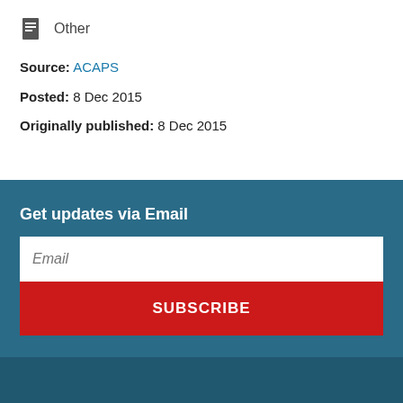Other
Source: ACAPS
Posted: 8 Dec 2015
Originally published: 8 Dec 2015
Get updates via Email
Email
SUBSCRIBE
BLOG